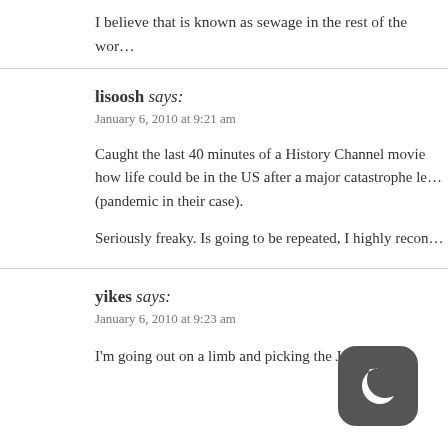I believe that is known as sewage in the rest of the wor…
lisoosh says:
January 6, 2010 at 9:21 am
Caught the last 40 minutes of a History Channel movie how life could be in the US after a major catastrophe le (pandemic in their case).
Seriously freaky. Is going to be repeated, I highly recon…
yikes says:
January 6, 2010 at 9:23 am
I'm going out on a limb and picking the Jet… t the…